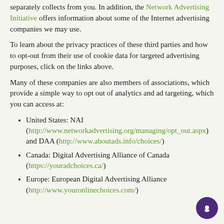separately collects from you. In addition, the Network Advertising Initiative offers information about some of the Internet advertising companies we may use.
To learn about the privacy practices of these third parties and how to opt-out from their use of cookie data for targeted advertising purposes, click on the links above.
Many of these companies are also members of associations, which provide a simple way to opt out of analytics and ad targeting, which you can access at:
United States: NAI (http://www.networkadvertising.org/managing/opt_out.aspx) and DAA (http://www.aboutads.info/choices/)
Canada: Digital Advertising Alliance of Canada (https://youradchoices.ca/)
Europe: European Digital Advertising Alliance (http://www.youronlinechoices.com/)